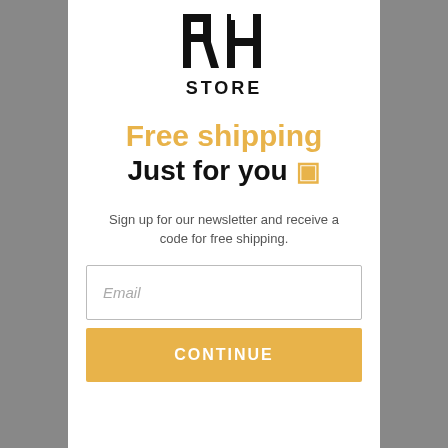[Figure (logo): RH STORE logo — bold black R and H letters with 'STORE' text below]
Free shipping
Just for you 🎁
Sign up for our newsletter and receive a code for free shipping.
Email (input field placeholder)
CONTINUE (button)